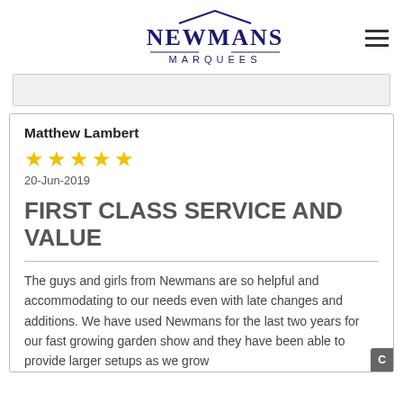[Figure (logo): Newmans Marquees logo with roofline graphic and decorative lines]
Matthew Lambert
★★★★★
20-Jun-2019
FIRST CLASS SERVICE AND VALUE
The guys and girls from Newmans are so helpful and accommodating to our needs even with late changes and additions. We have used Newmans for the last two years for our fast growing garden show and they have been able to provide larger setups as we grow